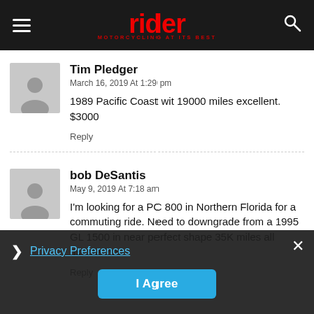rider – MOTORCYCLING AT ITS BEST
Tim Pledger
March 16, 2019 At 1:29 pm
1989 Pacific Coast wit 19000 miles excellent. $3000
Reply
bob DeSantis
May 9, 2019 At 7:18 am
I'm looking for a PC 800 in Northern Florida for a commuting ride. Need to downgrade from a 1995 GL 1500 in near perfect shape 35K miles all mainte... lone.
Reply
Privacy Preferences
I Agree